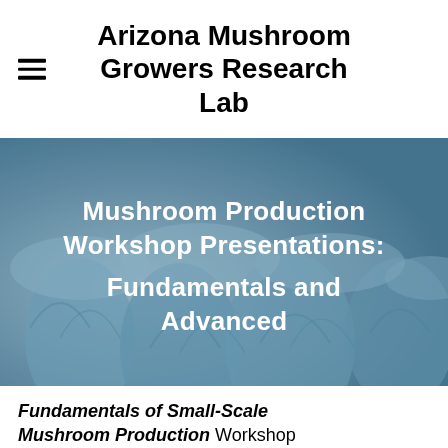Arizona Mushroom Growers Research Lab
[Figure (photo): Close-up blue-tinted photograph of clustered mushrooms filling the hero banner area, with white bold text overlay reading 'Mushroom Production Workshop Presentations: Fundamentals and Advanced']
Mushroom Production Workshop Presentations: Fundamentals and Advanced
Fundamentals of Small-Scale Mushroom Production Workshop Presentations